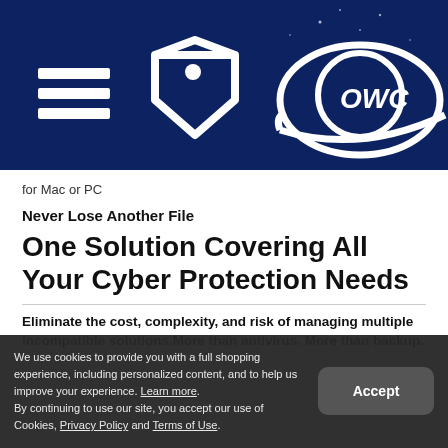[Figure (logo): OWC website navigation bar with dark blue background, hamburger menu icon (three white horizontal lines), a white price tag icon, and the OWC logo (circular planet-style logo with 'OWC' text)]
for Mac or PC
Never Lose Another File
One Solution Covering All Your Cyber Protection Needs
Eliminate the cost, complexity, and risk of managing multiple incompatible solutions.More than antivirus. More than backup.
We use cookies to provide you with a full shopping experience, including personalized content, and to help us improve your experience. Learn more. By continuing to use our site, you accept our use of Cookies, Privacy Policy and Terms of Use.